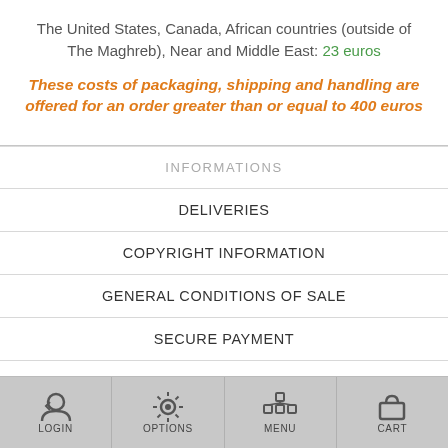The United States, Canada, African countries (outside of The Maghreb), Near and Middle East: 23 euros
These costs of packaging, shipping and handling are offered for an order greater than or equal to 400 euros
INFORMATIONS
DELIVERIES
COPYRIGHT INFORMATION
GENERAL CONDITIONS OF SALE
SECURE PAYMENT
CONTACT
LOGIN  OPTIONS  MENU  CART